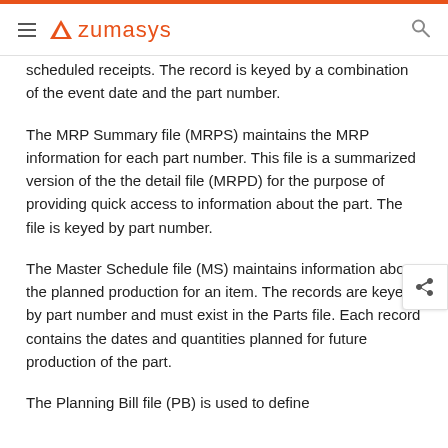zumasys
scheduled receipts. The record is keyed by a combination of the event date and the part number.
The MRP Summary file (MRPS) maintains the MRP information for each part number. This file is a summarized version of the the detail file (MRPD) for the purpose of providing quick access to information about the part. The file is keyed by part number.
The Master Schedule file (MS) maintains information about the planned production for an item. The records are keyed by part number and must exist in the Parts file. Each record contains the dates and quantities planned for future production of the part.
The Planning Bill file (PB) is used to define...